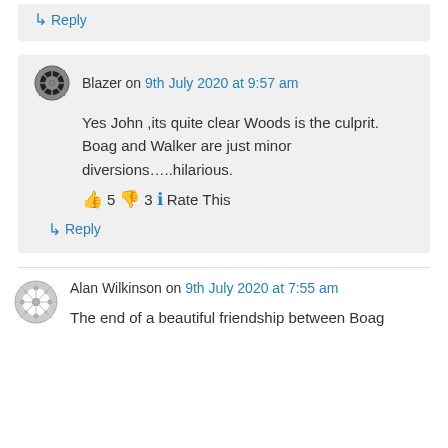↳ Reply
Blazer on 9th July 2020 at 9:57 am
Yes John ,its quite clear Woods is the culprit.
Boag and Walker are just minor diversions…..hilarious.
👍 5 👎 3 ℹ Rate This
↳ Reply
Alan Wilkinson on 9th July 2020 at 7:55 am
The end of a beautiful friendship between Boag